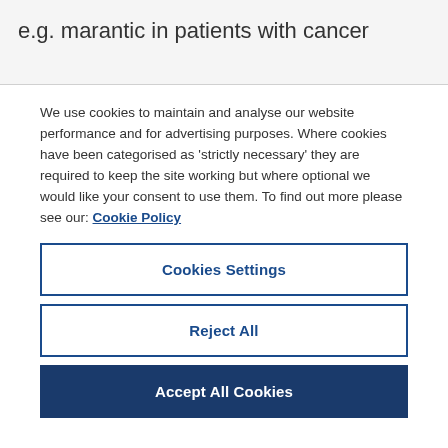e.g. marantic in patients with cancer
We use cookies to maintain and analyse our website performance and for advertising purposes. Where cookies have been categorised as 'strictly necessary' they are required to keep the site working but where optional we would like your consent to use them. To find out more please see our: Cookie Policy
Cookies Settings
Reject All
Accept All Cookies